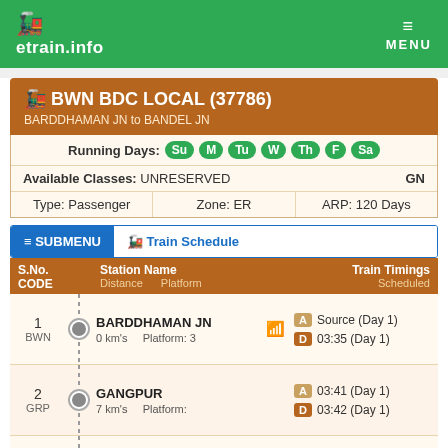etrain.info  MENU
🚂 BWN BDC LOCAL (37786) — BARDDHAMAN JN to BANDEL JN
Running Days: Su M Tu W Th F Sa
Available Classes: UNRESERVED   GN
Type: Passenger   Zone: ER   ARP: 120 Days
≡ SUBMENU  🚂 Train Schedule
| S.No. CODE | Station Name / Distance / Platform | Train Timings Scheduled |
| --- | --- | --- |
| 1 BWN | BARDDHAMAN JN / 0 km's / Platform: 3 | A: Source (Day 1) / D: 03:35 (Day 1) |
| 2 GRP | GANGPUR / 7 km's / Platform: | A: 03:41 (Day 1) / D: 03:42 (Day 1) |
| 3 SKG | SAKTIGARH / 12 km's / Platform: 3 | A: 03:45 (Day 1) / D: 03:46 (Day 1) |
| 4 PLAE | PALSIT / 15 km's / Platform: | A: 03:49 (Day 1) |